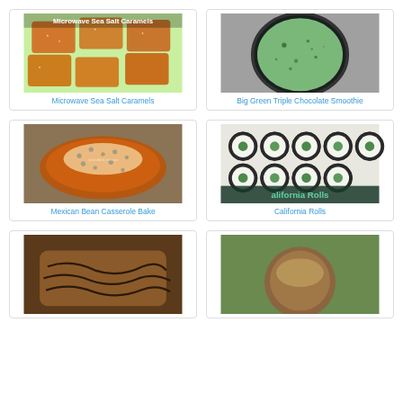[Figure (photo): Orange caramel squares with sea salt on colorful wrapping paper with text 'Microwave Sea Salt Caramels']
Microwave Sea Salt Caramels
[Figure (photo): Glass of green smoothie viewed from above on gray surface]
Big Green Triple Chocolate Smoothie
[Figure (photo): Mexican bean casserole in a glass dish with black beans and melted cheese on top]
Mexican Bean Casserole Bake
[Figure (photo): California rolls sushi on a white plate with label 'California Rolls']
California Rolls
[Figure (photo): Partial view of a dessert item at bottom left]
[Figure (photo): Partial view of a dessert item at bottom right]